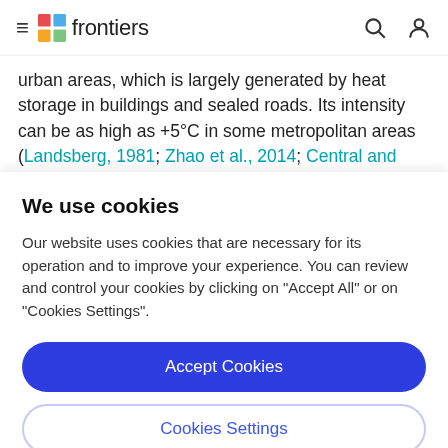frontiers
urban areas, which is largely generated by heat storage in buildings and sealed roads. Its intensity can be as high as +5°C in some metropolitan areas (Landsberg, 1981; Zhao et al., 2014; Central and Climate, 2021), so organisms in cities experience higher temperatures and more frequent
We use cookies
Our website uses cookies that are necessary for its operation and to improve your experience. You can review and control your cookies by clicking on "Accept All" or on "Cookies Settings".
Accept Cookies
Cookies Settings